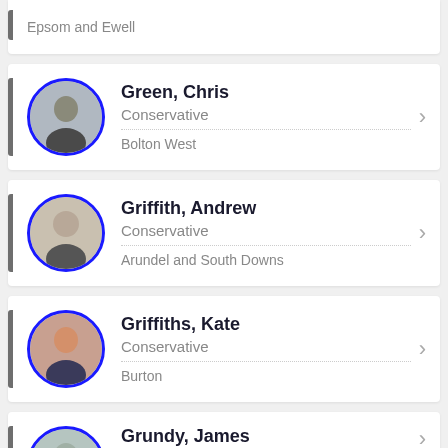Epsom and Ewell
Green, Chris | Conservative | Bolton West
Griffith, Andrew | Conservative | Arundel and South Downs
Griffiths, Kate | Conservative | Burton
Grundy, James